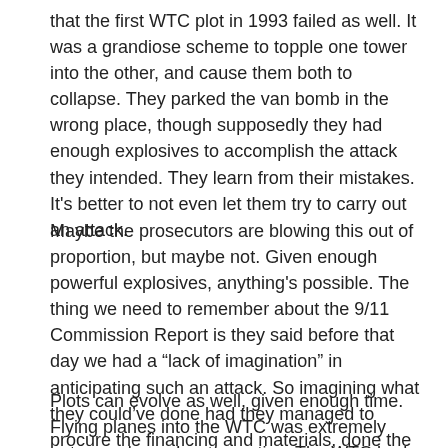that the first WTC plot in 1993 failed as well. It was a grandiose scheme to topple one tower into the other, and cause them both to collapse. They parked the van bomb in the wrong place, though supposedly they had enough explosives to accomplish the attack they intended. They learn from their mistakes. It's better to not even let them try to carry out an attack.
Maybe the prosecutors are blowing this out of proportion, but maybe not. Given enough powerful explosives, anything's possible. The thing we need to remember about the 9/11 Commission Report is they said before that day we had a “lack of imagination” in anticipating such an attack. So imagining what they could've done had they managed to procure the financing and materials, done the planning, and found the people to do it is not out of bounds. The only legitimate way in my mind that you can dismiss the plot is if you can show that there was no realistic way, logistically, that they could've caused the damage they wanted to.
Plots can evolve as well, given enough time. Flying planes into the WTC was extremely gutsy, and may I say, creative. The WTC had sufficient security to stop a truck bomb from